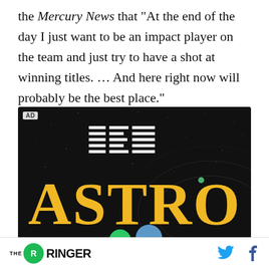the Mercury News that "At the end of the day I just want to be an impact player on the team and just try to have a shot at winning titles. ... And here right now will probably be the best place."
[Figure (advertisement): IBM advertisement with dark starfield background showing IBM logo in white striped letters at top and large yellow bold 'ASTRO' text at bottom with orbital circle graphics]
THE RINGER [logo] with Twitter and Facebook social icons